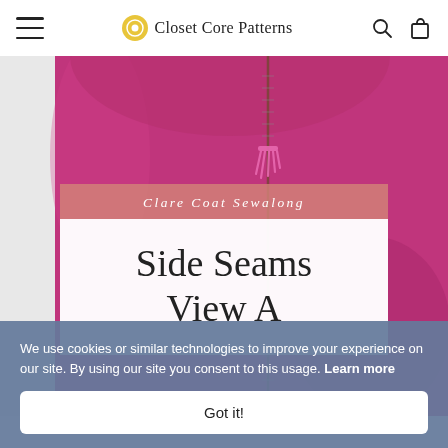Closet Core Patterns
[Figure (photo): Close-up photo of a bright magenta/fuchsia Clare Coat with a zipper running down the front center and pink tassel zipper pulls, displayed as the main product image.]
Clare Coat Sewalong
Side Seams View A
We use cookies or similar technologies to improve your experience on our site. By using our site you consent to this usage. Learn more
Got it!